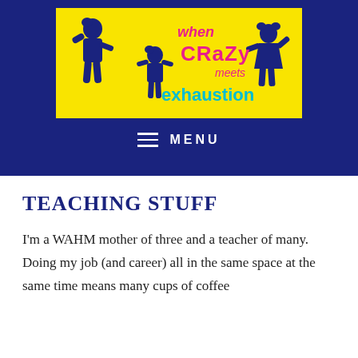[Figure (logo): Blog logo for 'when CRaZy meets exhaustion' featuring dark blue silhouettes of children on a yellow background with pink and teal lettering]
≡ MENU
TEACHING STUFF
I'm a WAHM mother of three and a teacher of many. Doing my job (and career) all in the same space at the same time means many cups of coffee